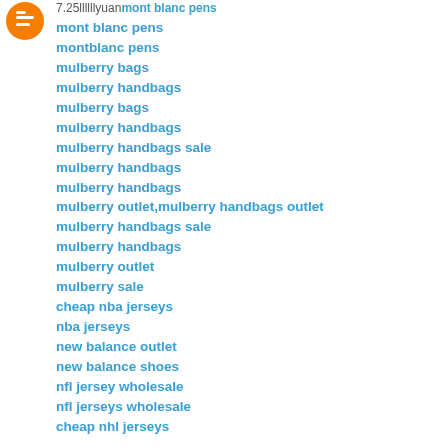[Figure (logo): Blogger orange circle logo icon]
7.25llllllyuanmont blanc pens
mont blanc pens
montblanc pens
mulberry bags
mulberry handbags
mulberry bags
mulberry handbags
mulberry handbags sale
mulberry handbags
mulberry handbags
mulberry outlet,mulberry handbags outlet
mulberry handbags sale
mulberry handbags
mulberry outlet
mulberry sale
cheap nba jerseys
nba jerseys
new balance outlet
new balance shoes
nfl jersey wholesale
nfl jerseys wholesale
cheap nhl jerseys